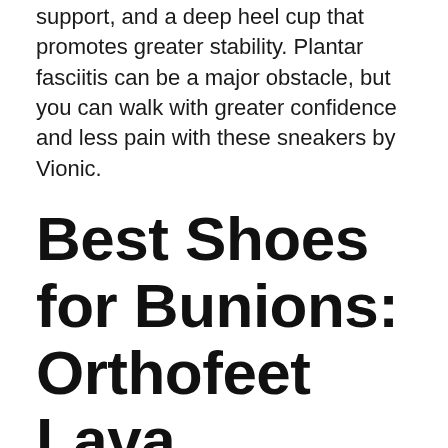support, and a deep heel cup that promotes greater stability. Plantar fasciitis can be a major obstacle, but you can walk with greater confidence and less pain with these sneakers by Vionic.
Best Shoes for Bunions: Orthofeet Lava
Bunions are bony bumps that occur on the outside of your big toe, and there are numerous reasons why you might develop them. Most frequently, people get bunions because they're wearing shoes that squish their toes together, dealing with foot stress